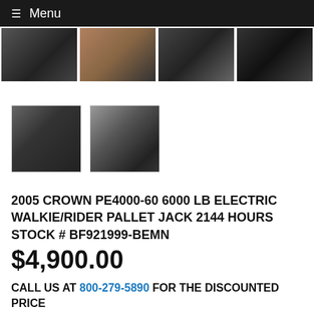≡ Menu
[Figure (photo): Four thumbnail photos of a Crown PE4000-60 electric walkie/rider pallet jack from various angles, shown in a horizontal row]
[Figure (photo): Two larger thumbnail photos of the Crown PE4000-60 pallet jack: one showing front view, one showing full side/forks view]
2005 CROWN PE4000-60 6000 LB ELECTRIC WALKIE/RIDER PALLET JACK 2144 HOURS STOCK # BF921999-BEMN
$4,900.00
CALL US AT 800-279-5890 FOR THE DISCOUNTED PRICE